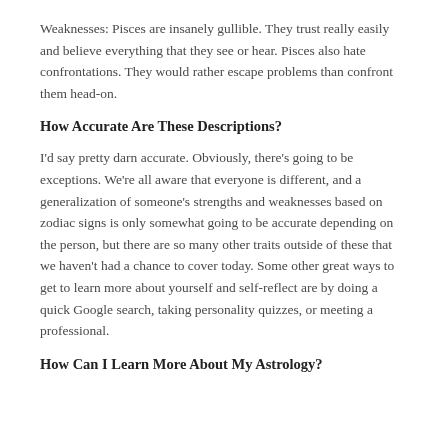Weaknesses: Pisces are insanely gullible. They trust really easily and believe everything that they see or hear. Pisces also hate confrontations. They would rather escape problems than confront them head-on.
How Accurate Are These Descriptions?
I'd say pretty darn accurate. Obviously, there's going to be exceptions. We're all aware that everyone is different, and a generalization of someone's strengths and weaknesses based on zodiac signs is only somewhat going to be accurate depending on the person, but there are so many other traits outside of these that we haven't had a chance to cover today. Some other great ways to get to learn more about yourself and self-reflect are by doing a quick Google search, taking personality quizzes, or meeting a professional.
How Can I Learn More About My Astrology?